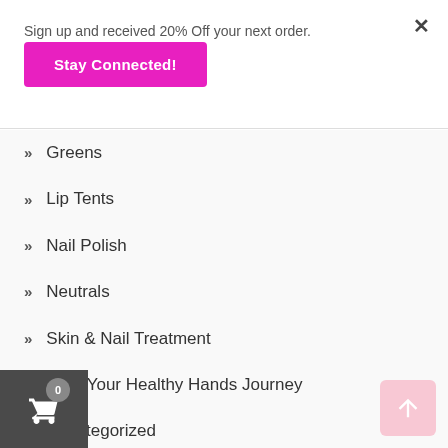Sign up and received 20% Off your next order.
Stay Connected!
» Greens
» Lip Tents
» Nail Polish
» Neutrals
» Skin & Nail Treatment
» Start Your Healthy Hands Journey
» Uncategorized